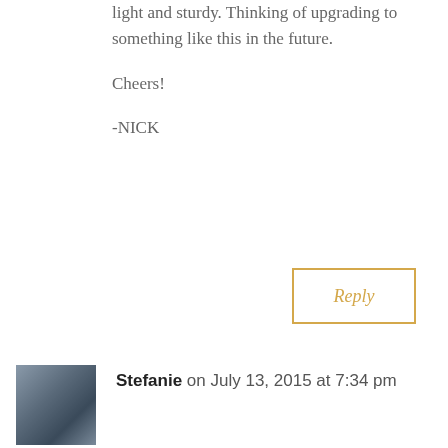light and sturdy. Thinking of upgrading to something like this in the future.
Cheers!
-NICK
Reply
Stefanie on July 13, 2015 at 7:34 pm
Love what you guys are doing. I had a similar life epiphany several years ago when I aggressively paid off all of my debt and sold all my things! Now my partner and I are getting ready to move into an off-grid tiny house on a piece of